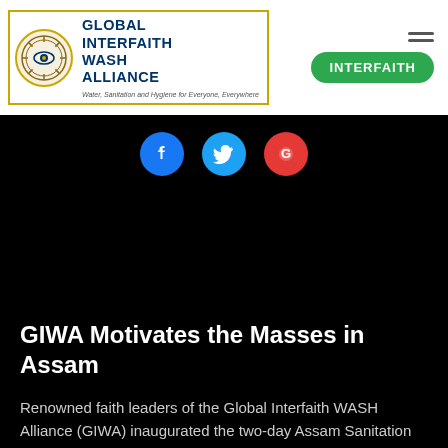Global Interfaith WASH Alliance
[Figure (logo): Global Interfaith WASH Alliance logo with circular emblem and yellow border]
[Figure (other): Green rounded button with text INTERFAITH and hamburger menu icon]
[Figure (other): Social media icons: Facebook (blue circle), Twitter (light blue circle), Google (red circle)]
GIWA Motivates the Masses in Assam
Renowned faith leaders of the Global Interfaith WASH Alliance (GIWA) inaugurated the two-day Assam Sanitation Conference in Khanapara Field, Guwahati with the Hon'ble Chief Minister...